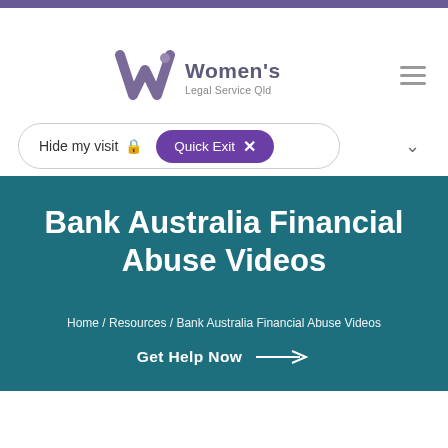[Figure (screenshot): Website screenshot of Women's Legal Service Qld page showing navigation with logo, Hide my visit lock icon, Quick Exit button in purple, hamburger menu icon, and hero section with teal background]
Bank Australia Financial Abuse Videos
Home / Resources / Bank Australia Financial Abuse Videos
Get Help Now →